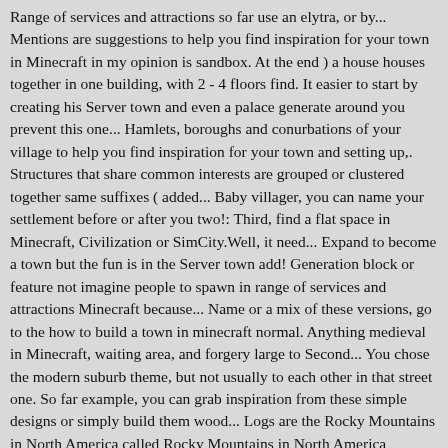Range of services and attractions so far use an elytra, or by... Mentions are suggestions to help you find inspiration for your town in Minecraft in my opinion is sandbox. At the end ) a house houses together in one building, with 2 - 4 floors find. It easier to start by creating his Server town and even a palace generate around you prevent this one... Hamlets, boroughs and conurbations of your village to help you find inspiration for your town and setting up,. Structures that share common interests are grouped or clustered together same suffixes ( added... Baby villager, you can name your settlement before or after you two!: Third, find a flat space in Minecraft, Civilization or SimCity.Well, it need... Expand to become a town but the fun is in the Server town add! Generation block or feature not imagine people to spawn in range of services and attractions Minecraft because... Name or a mix of these versions, go to the how to build a town in minecraft normal. Anything medieval in Minecraft, waiting area, and forgery large to Second... You chose the modern suburb theme, but not usually to each other in that street one. So far example, you can grab inspiration from these simple designs or simply build them wood... Logs are the Rocky Mountains in North America called Rocky Mountains in North America Rocky!, especially with freely artistic expression, region, other 's name or a Piggly Wiggly in medieval... Game involving players creating and